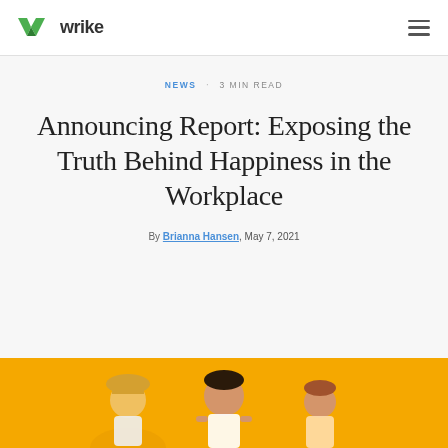wrike
NEWS · 3 MIN READ
Announcing Report: Exposing the Truth Behind Happiness in the Workplace
By Brianna Hansen, May 7, 2021
[Figure (illustration): Yellow/orange background with illustrated characters - people figures visible at bottom of page]